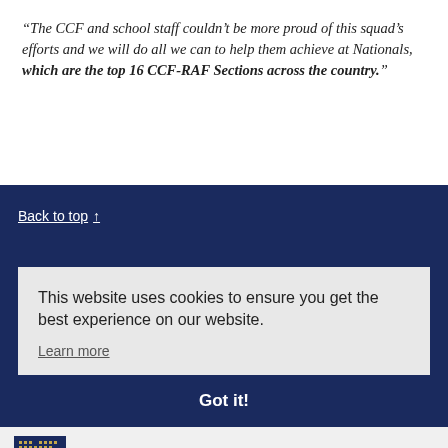“The CCF and school staff couldn’t be more proud of this squad’s efforts and we will do all we can to help them achieve at Nationals, which are the top 16 CCF-RAF Sections across the country.”
Back to top ↑
This website uses cookies to ensure you get the best experience on our website.
Learn more
Got it!
Part of the